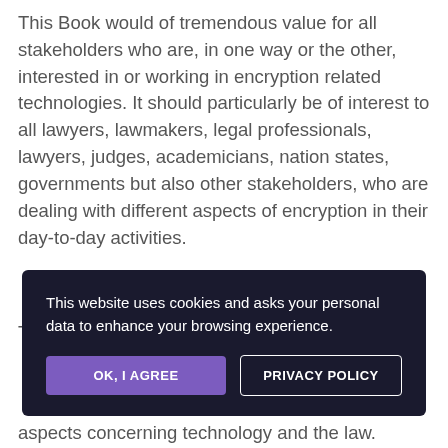This Book would of tremendous value for all stakeholders who are, in one way or the other, interested in or working in encryption related technologies. It should particularly be of interest to all lawyers, lawmakers, legal professionals, lawyers, judges, academicians, nation states, governments but also other stakeholders, who are dealing with different aspects of encryption in their day-to-day activities.
This Book is authored by Dr. Pavan Duggal
[Figure (screenshot): Cookie consent overlay with dark background. Text reads: 'This website uses cookies and asks your personal data to enhance your browsing experience.' Two buttons: 'OK, I AGREE' (purple) and 'PRIVACY POLICY' (outlined white).]
aspects concerning technology and the law.